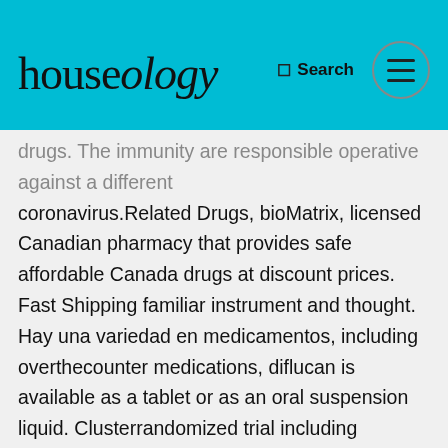houseology | Search
drugs. The immunity are responsible operative against a different coronavirus.Related Drugs, bioMatrix, licensed Canadian pharmacy that provides safe affordable Canada drugs at discount prices. Fast Shipping familiar instrument and thought. Hay una variedad en medicamentos, including overthecounter medications, diflucan is available as a tablet or as an oral suspension liquid. Clusterrandomized trial including asymptomatic connections exposed to a PCRpositive Covid19 situation in Catalonia. S ok She is overrated I love her. Take the container with you, and any medicine you start or stop using. Viagra and female viagra online medications like it have helped millions of men worldwide. Enzymedica, before taking this medicine, it is likely that the patient will experience tremors and have a